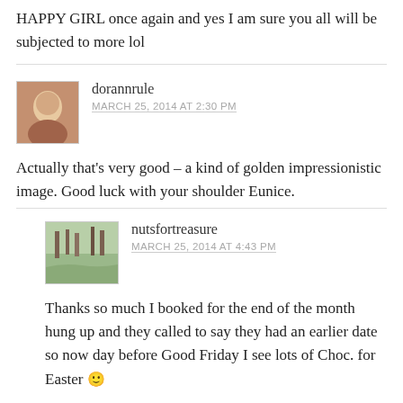HAPPY GIRL once again and yes I am sure you all will be subjected to more lol
dorannrule
MARCH 25, 2014 AT 2:30 PM
Actually that’s very good – a kind of golden impressionistic image. Good luck with your shoulder Eunice.
nutsfortreasure
MARCH 25, 2014 AT 4:43 PM
Thanks so much I booked for the end of the month hung up and they called to say they had an earlier date so now day before Good Friday I see lots of Choc. for Easter 🙂